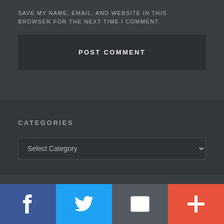SAVE MY NAME, EMAIL, AND WEBSITE IN THIS BROWSER FOR THE NEXT TIME I COMMENT.
POST COMMENT
CATEGORIES
Select Category
[Figure (other): Social share bar with four buttons: Facebook (blue), Twitter (light blue), Email/envelope (dark grey), and plus/more (red-orange)]